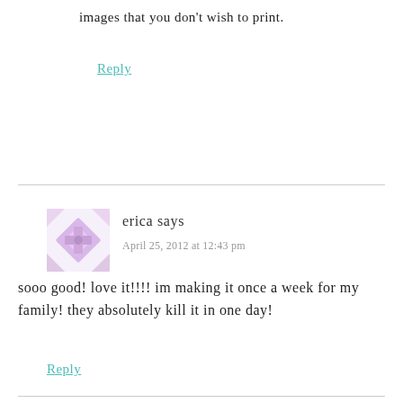images that you don't wish to print.
Reply
[Figure (illustration): Avatar image for user erica — decorative geometric/floral pattern in light purple and pink tones]
erica says
April 25, 2012 at 12:43 pm
sooo good! love it!!!! im making it once a week for my family! they absolutely kill it in one day!
Reply